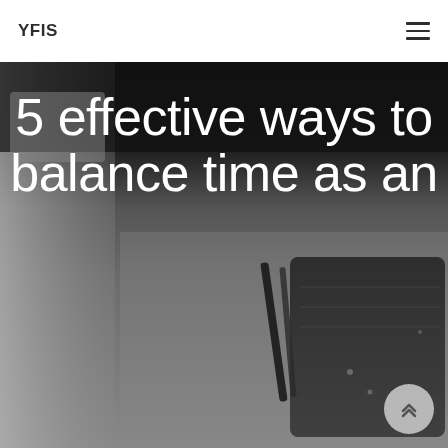YFIS
[Figure (photo): Grayscale overhead photo of a desk with a laptop, notebooks, and pens serving as background for article title]
5 effective ways to balance time as an